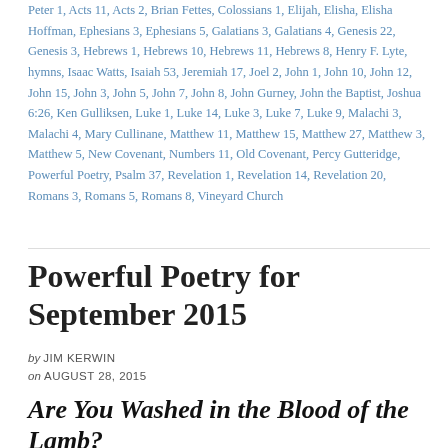Peter 1, Acts 11, Acts 2, Brian Fettes, Colossians 1, Elijah, Elisha, Elisha Hoffman, Ephesians 3, Ephesians 5, Galatians 3, Galatians 4, Genesis 22, Genesis 3, Hebrews 1, Hebrews 10, Hebrews 11, Hebrews 8, Henry F. Lyte, hymns, Isaac Watts, Isaiah 53, Jeremiah 17, Joel 2, John 1, John 10, John 12, John 15, John 3, John 5, John 7, John 8, John Gurney, John the Baptist, Joshua 6:26, Ken Gulliksen, Luke 1, Luke 14, Luke 3, Luke 7, Luke 9, Malachi 3, Malachi 4, Mary Cullinane, Matthew 11, Matthew 15, Matthew 27, Matthew 3, Matthew 5, New Covenant, Numbers 11, Old Covenant, Percy Gutteridge, Powerful Poetry, Psalm 37, Revelation 1, Revelation 14, Revelation 20, Romans 3, Romans 5, Romans 8, Vineyard Church
Powerful Poetry for September 2015
by JIM KERWIN
on AUGUST 28, 2015
Are You Washed in the Blood of the Lamb?